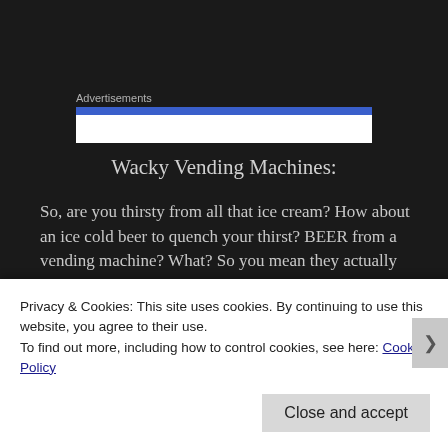Advertisements
[Figure (other): Advertisement bar with blue top strip and white content area]
Wacky Vending Machines:
So, are you thirsty from all that ice cream?  How about an ice cold beer to quench your thirst?  BEER from a vending machine?  What?  So you mean they actually trust people? I'll take four for the road please.
Privacy & Cookies: This site uses cookies. By continuing to use this website, you agree to their use.
To find out more, including how to control cookies, see here: Cookie Policy
Close and accept